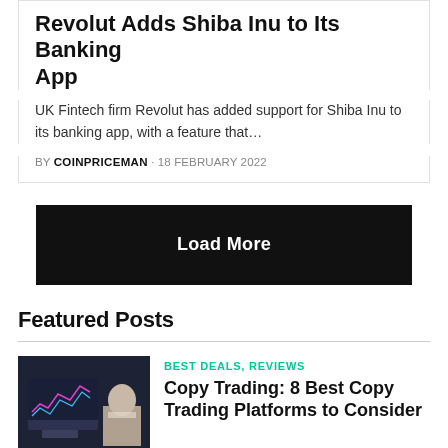Revolut Adds Shiba Inu to Its Banking App
UK Fintech firm Revolut has added support for Shiba Inu to its banking app, with a feature that…
BY COINPRICEMAN · 18 FEBRUARY 2022
Load More
Featured Posts
BEST DEALS, REVIEWS
Copy Trading: 8 Best Copy Trading Platforms to Consider